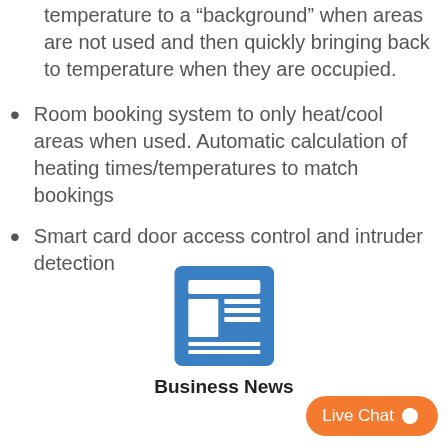temperature to a “background” when areas are not used and then quickly bringing back to temperature when they are occupied.
Room booking system to only heat/cool areas when used. Automatic calculation of heating times/temperatures to match bookings
Smart card door access control and intruder detection
[Figure (illustration): Blue square icon with a newspaper/document graphic in white]
Business News